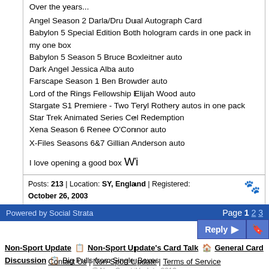Over the years...
Angel Season 2 Darla/Dru Dual Autograph Card
Babylon 5 Special Edition Both hologram cards in one pack in my one box
Babylon 5 Season 5 Bruce Boxleitner auto
Dark Angel Jessica Alba auto
Farscape Season 1 Ben Browder auto
Lord of the Rings Fellowship Elijah Wood auto
Stargate S1 Premiere - Two Teryl Rothery autos in one pack
Star Trek Animated Series Cel Redemption
Xena Season 6 Renee O'Connor auto
X-Files Seasons 6&7 Gillian Anderson auto

I love opening a good box Wi
Posts: 213 | Location: SY, England | Registered: October 26, 2003
Powered by Social Strata    Page 1 2 3
Reply
Non-Sport Update  Non-Sport Update's Card Talk  General Card Discussion  Big Pulls from Single Boxes
Contact Us | Non-Sport Update | Terms of Service
© Non-Sport Update 2013